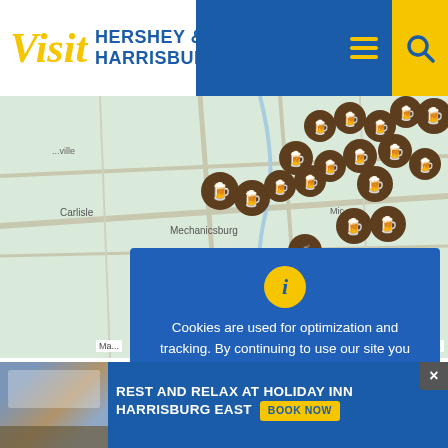[Figure (screenshot): Visit Hershey & Harrisburg website header with logo, hamburger menu icon, and search icon on blue background]
[Figure (map): Interactive map showing the Hershey and Harrisburg PA region with beer mug map markers indicating brewery/distillery locations near Carlisle, Mechanicsburg, Harrisburg, and surrounding areas]
Cookies are used for optimization and tracking. By continuing to use our site you agree to our privacy policy.
Accept & Dismiss
Di stille...
REST AND RELAX AT HOLIDAY INN HARRISBURG EAST BOOK NOW